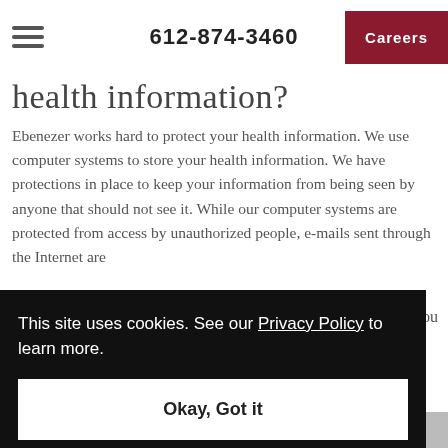612-874-3460  Careers
Health Information?
Ebenezer works hard to protect your health information. We use computer systems to store your health information. We have protections in place to keep your information from being seen by anyone that should not see it. While our computer systems are protected from access by unauthorized people, e-mails sent through the Internet are
This site uses cookies. See our Privacy Policy to learn more.
Okay, Got it